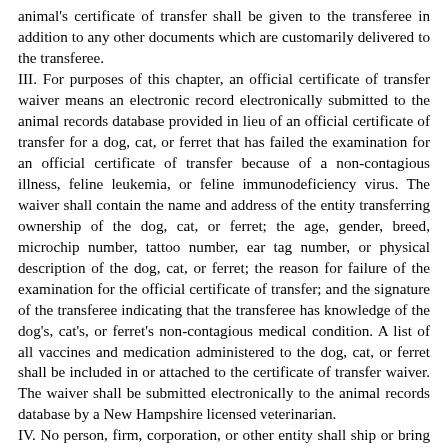animal's certificate of transfer shall be given to the transferee in addition to any other documents which are customarily delivered to the transferee.
III. For purposes of this chapter, an official certificate of transfer waiver means an electronic record electronically submitted to the animal records database provided in lieu of an official certificate of transfer for a dog, cat, or ferret that has failed the examination for an official certificate of transfer because of a non-contagious illness, feline leukemia, or feline immunodeficiency virus. The waiver shall contain the name and address of the entity transferring ownership of the dog, cat, or ferret; the age, gender, breed, microchip number, tattoo number, ear tag number, or physical description of the dog, cat, or ferret; the reason for failure of the examination for the official certificate of transfer; and the signature of the transferee indicating that the transferee has knowledge of the dog's, cat's, or ferret's non-contagious medical condition. A list of all vaccines and medication administered to the dog, cat, or ferret shall be included in or attached to the certificate of transfer waiver. The waiver shall be submitted electronically to the animal records database by a New Hampshire licensed veterinarian.
IV. No person, firm, corporation, or other entity shall ship or bring into the state of New Hampshire, to offer for transfer in the state of New Hampshire, any cat, dog, or ferret less than 8 weeks of age. No person, firm, corporation, or other entity shall offer for transfer any cat, dog, or ferret less than 8 weeks of age.